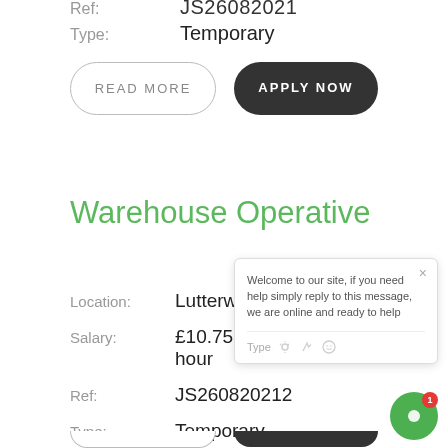Ref: JS26082021
Type: Temporary
READ MORE
APPLY NOW
Warehouse Operative
Location: Lutterworth
Salary: £10.75 per hour
Ref: JS260820212
Type: Temporary
Welcome to our site, if you need help simply reply to this message, we are online and ready to help